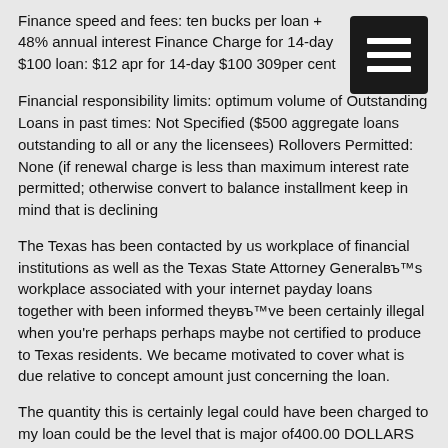Finance speed and fees: ten bucks per loan + 48% annual interest Finance Charge for 14-day $100 loan: $12 apr for 14-day $100 309per cent
[Figure (other): Hamburger menu icon — three white horizontal bars on a dark square background]
Financial responsibility limits: optimum volume of Outstanding Loans in past times: Not Specified ($500 aggregate loans outstanding to all or any the licensees) Rollovers Permitted: None (if renewal charge is less than maximum interest rate permitted; otherwise convert to balance installment keep in mind that is declining
The Texas has been contacted by us workplace of financial institutions as well as the Texas State Attorney GeneralвЂ™s workplace associated with your internet payday loans together with been informed theyвЂ™ve been certainly illegal when you’re perhaps perhaps maybe not certified to produce to Texas residents. We became motivated to cover what is due relative to concept amount just concerning the loan.
The quantity this is certainly legal could have been charged to my loan could be the level that is major of400.00 DOLLARS whether or not your earnings that is day that is internet up being appropriate in Texas. IвЂ™ve compensated $240.00 DOLLARS with this specific loan by the debits of my checking account. Until now, a stability is had by us staying